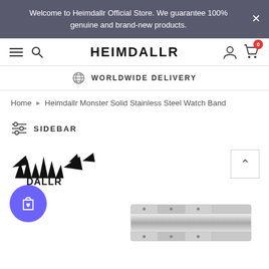Welcome to Heimdallr Official Store. We guarantee 100% genuine and brand-new products.
[Figure (screenshot): Heimdallr store navigation bar with hamburger menu, search icon, HEIMDALLR brand name, user icon, and cart icon with 0 badge]
WORLDWIDE DELIVERY
Home > Heimdallr Monster Solid Stainless Steel Watch Band
SIDEBAR
[Figure (logo): Heimdallr logo with stylized monster graphic and text HEIMDALLR, with purple wishlist button and stainless steel watch band product image]